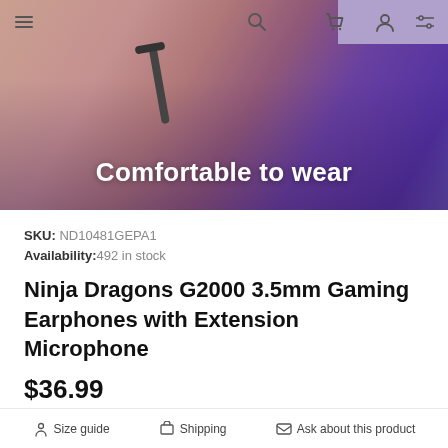[Figure (photo): Hero banner image showing a woman wearing gaming earphones/headset with pink and purple nails touching the device. Text overlay reads 'Comfortable to wear'. Top navigation bar with menu, search, cart, account and filter icons.]
SKU: ND10481GEPA1
Availability: 492 in stock
Ninja Dragons G2000 3.5mm Gaming Earphones with Extension Microphone
$36.99
Size guide   Shipping   Ask about this product